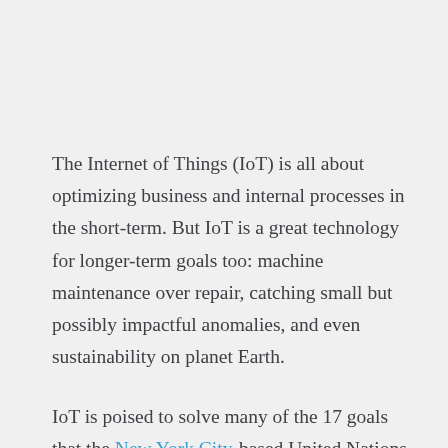The Internet of Things (IoT) is all about optimizing business and internal processes in the short-term. But IoT is a great technology for longer-term goals too: machine maintenance over repair, catching small but possibly impactful anomalies, and even sustainability on planet Earth.
IoT is poised to solve many of the 17 goals that the New York City-based United Nations (UN) set out for completion by 2030. Some of these include